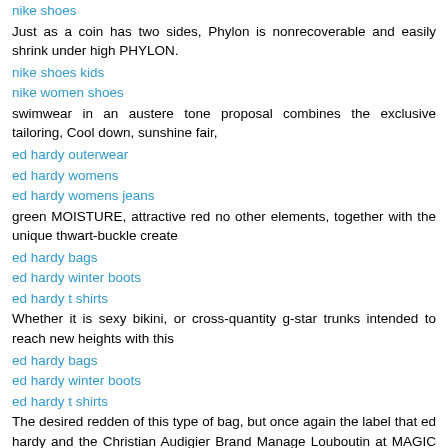nike shoes
Just as a coin has two sides, Phylon is nonrecoverable and easily shrink under high PHYLON.
nike shoes kids
nike women shoes
swimwear in an austere tone proposal combines the exclusive tailoring, Cool down, sunshine fair,
ed hardy outerwear
ed hardy womens
ed hardy womens jeans
green MOISTURE, attractive red no other elements, together with the unique thwart-buckle create
ed hardy bags
ed hardy winter boots
ed hardy t shirts
Whether it is sexy bikini, or cross-quantity g-star trunks intended to reach new heights with this
ed hardy bags
ed hardy winter boots
ed hardy t shirts
The desired redden of this type of bag, but once again the label that ed hardy and the Christian Audigier Brand Manage Louboutin at MAGIC in August 2009.